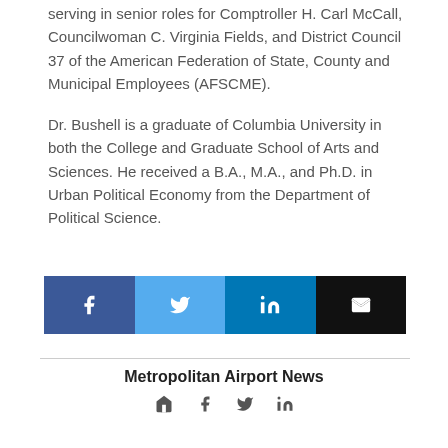serving in senior roles for Comptroller H. Carl McCall, Councilwoman C. Virginia Fields, and District Council 37 of the American Federation of State, County and Municipal Employees (AFSCME).
Dr. Bushell is a graduate of Columbia University in both the College and Graduate School of Arts and Sciences. He received a B.A., M.A., and Ph.D. in Urban Political Economy from the Department of Political Science.
[Figure (infographic): Row of four social sharing buttons: Facebook (dark blue, 'f' icon), Twitter (light blue, bird icon), LinkedIn (teal-blue, 'in' icon), Email (black, envelope icon)]
Metropolitan Airport News